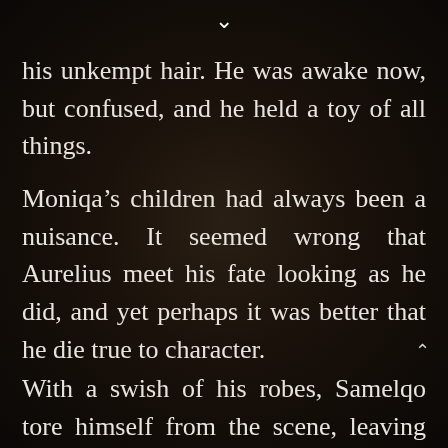his unkempt hair. He was awake now, but confused, and he held a toy of all things.
Moniqa’s children had always been a nuisance. It seemed wrong that Aurelius meet his fate looking as he did, and yet perhaps it was better that he die true to character.
With a swish of his robes, Samelqo tore himself from the scene, leaving for the far side of the temple where a second door led to the platform above Molot’s gardens. He